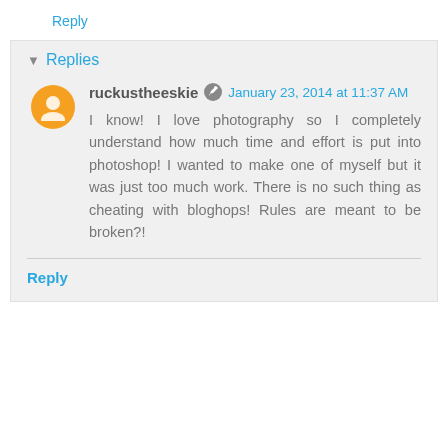Reply
Replies
ruckustheeskie  January 23, 2014 at 11:37 AM
I know! I love photography so I completely understand how much time and effort is put into photoshop! I wanted to make one of myself but it was just too much work. There is no such thing as cheating with bloghops! Rules are meant to be broken?!
Reply